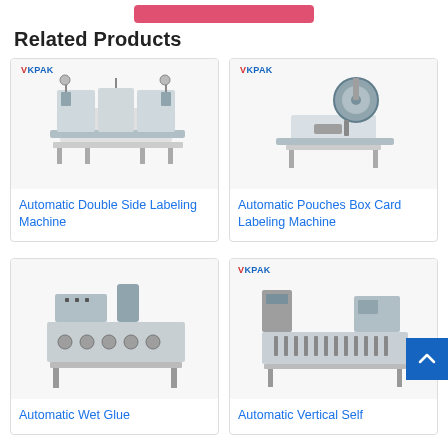[Figure (other): Pink/red button at top of page]
Related Products
[Figure (photo): Automatic Double Side Labeling Machine with VKPAK logo]
[Figure (photo): Automatic Pouches Box Card Labeling Machine with VKPAK logo]
Automatic Double Side Labeling Machine
Automatic Pouches Box Card Labeling Machine
[Figure (photo): Automatic Wet Glue labeling machine]
[Figure (photo): Automatic Vertical Self labeling machine with VKPAK logo]
Automatic Wet Glue
Automatic Vertical Self